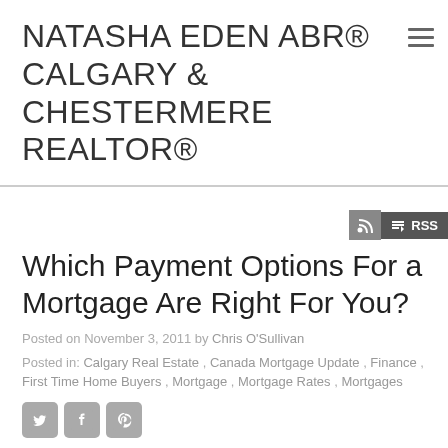NATASHA EDEN ABR® CALGARY & CHESTERMERE REALTOR®
Which Payment Options For a Mortgage Are Right For You?
Posted on November 3, 2011 by Chris O'Sullivan
Posted in: Calgary Real Estate , Canada Mortgage Update , Finance , First Time Home Buyers , Mortgage , Mortgage Rates , Mortgages
[Figure (other): Social sharing icons: Twitter, Facebook, Pinterest]
by Chris O' Sullivan - cosullivan@mortgagwriters.ca